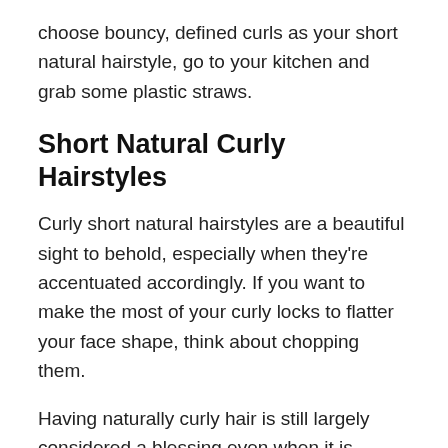choose bouncy, defined curls as your short natural hairstyle, go to your kitchen and grab some plastic straws.
Short Natural Curly Hairstyles
Curly short natural hairstyles are a beautiful sight to behold, especially when they're accentuated accordingly. If you want to make the most of your curly locks to flatter your face shape, think about chopping them.
Having naturally curly hair is still largely considered a blessing even when it is sometimes tiring to struggle with the curly structure of your hair on a daily basis, especially in wet weather. There are more